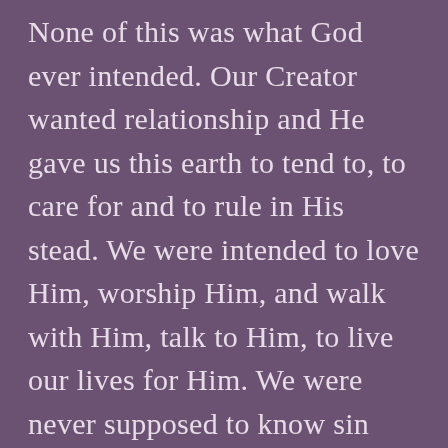None of this was what God ever intended. Our Creator wanted relationship and He gave us this earth to tend to, to care for and to rule in His stead. We were intended to love Him, worship Him, and walk with Him, talk to Him, to live our lives for Him. We were never supposed to know sin and the pain and destruction that it leaves in its wake. We were